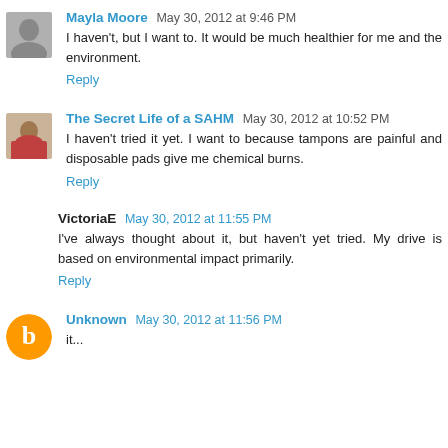Mayla Moore  May 30, 2012 at 9:46 PM
I haven't, but I want to. It would be much healthier for me and the environment.
Reply
The Secret Life of a SAHM  May 30, 2012 at 10:52 PM
I haven't tried it yet. I want to because tampons are painful and disposable pads give me chemical burns.
Reply
VictoriaE  May 30, 2012 at 11:55 PM
I've always thought about it, but haven't yet tried. My drive is based on environmental impact primarily.
Reply
Unknown  May 30, 2012 at 11:56 PM
it...